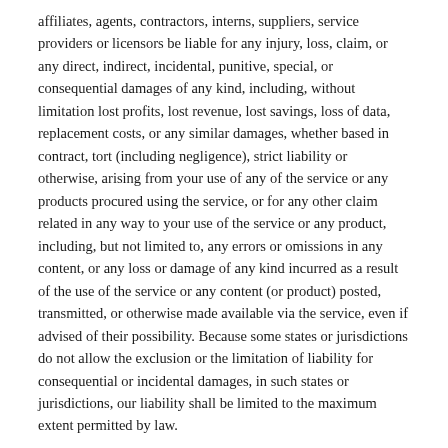affiliates, agents, contractors, interns, suppliers, service providers or licensors be liable for any injury, loss, claim, or any direct, indirect, incidental, punitive, special, or consequential damages of any kind, including, without limitation lost profits, lost revenue, lost savings, loss of data, replacement costs, or any similar damages, whether based in contract, tort (including negligence), strict liability or otherwise, arising from your use of any of the service or any products procured using the service, or for any other claim related in any way to your use of the service or any product, including, but not limited to, any errors or omissions in any content, or any loss or damage of any kind incurred as a result of the use of the service or any content (or product) posted, transmitted, or otherwise made available via the service, even if advised of their possibility. Because some states or jurisdictions do not allow the exclusion or the limitation of liability for consequential or incidental damages, in such states or jurisdictions, our liability shall be limited to the maximum extent permitted by law.
SECTION 14 - INDEMNIFICATION